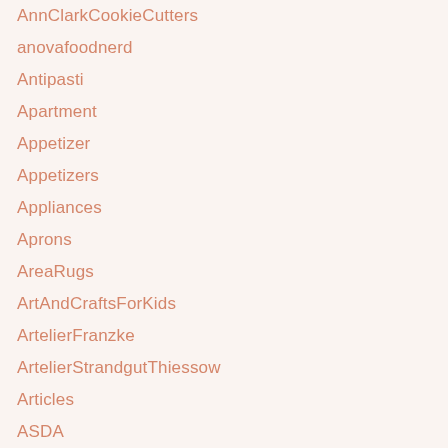AnnClarkCookieCutters
anovafoodnerd
Antipasti
Apartment
Appetizer
Appetizers
Appliances
Aprons
AreaRugs
ArtAndCraftsForKids
ArtelierFranzke
ArtelierStrandgutThiessow
Articles
ASDA
ASDAPhoto